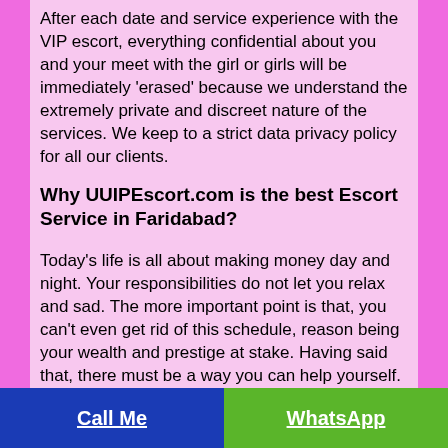After each date and service experience with the VIP escort, everything confidential about you and your meet with the girl or girls will be immediately 'erased' because we understand the extremely private and discreet nature of the services. We keep to a strict data privacy policy for all our clients.
Why UUIPEscort.com is the best Escort Service in Faridabad?
Today's life is all about making money day and night. Your responsibilities do not let you relax and sad. The more important point is that, you can't even get rid of this schedule, reason being your wealth and prestige at stake. Having said that, there must be a way you can help yourself. That's right you can take a week or couple of days out of your busy schedule to replenish yourself with fresh spirit.
Yes, what you are reading is all true. Call Girls in Faridabad will make it happen for you for sure. Our Faridabad call girls are in a state with a great...
Call Me   WhatsApp